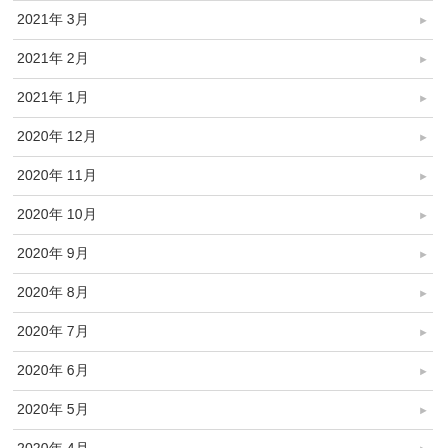2021年 3月
2021年 2月
2021年 1月
2020年 12月
2020年 11月
2020年 10月
2020年 9月
2020年 8月
2020年 7月
2020年 6月
2020年 5月
2020年 4月
2020年 3月
2020年 2月